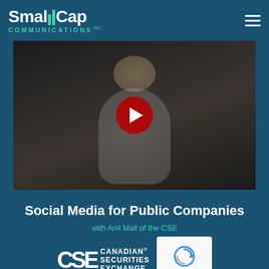[Figure (logo): SmallCap Communications Inc. logo with teal bar chart icon and teal COMMUNICATIONS text]
[Figure (screenshot): Video thumbnail showing a woman presenter with a YouTube-style red play button overlay]
Social Media for Public Companies
with Anil Mall of the CSE
[Figure (logo): CSE Canadian Securities Exchange logo in white on dark teal background, with reCAPTCHA widget to the right showing Privacy and Terms text]